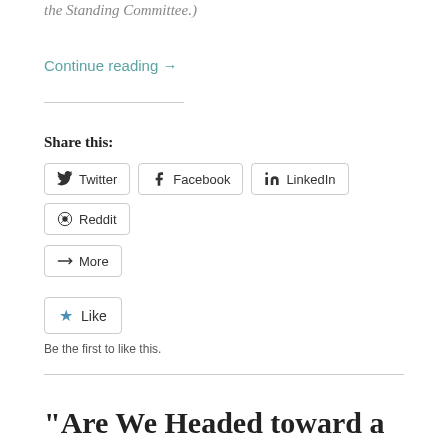the Standing Committee.)
Continue reading →
Share this:
Twitter Facebook LinkedIn Reddit More
Like
Be the first to like this.
“Are We Headed toward a Permanently Divided